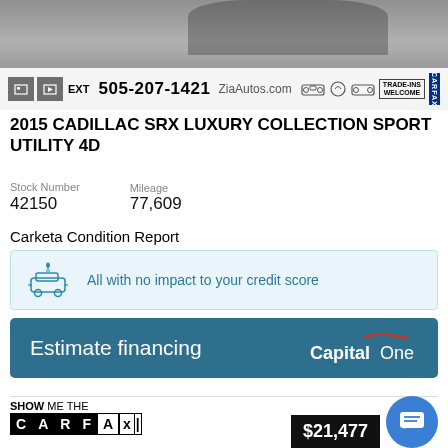[Figure (photo): Dealer banner with car photo, phone number 505-207-1421, ZiaAutos.com, TRADE-INS WELCOME, CARFAX badge, and media icons]
2015 CADILLAC SRX LUXURY COLLECTION SPORT UTILITY 4D
| Stock Number | Mileage |
| --- | --- |
| 42150 | 77,609 |
Carketa Condition Report
All with no impact to your credit score
Estimate financing
[Figure (logo): SHOW ME THE CARFAX logo]
$21,477